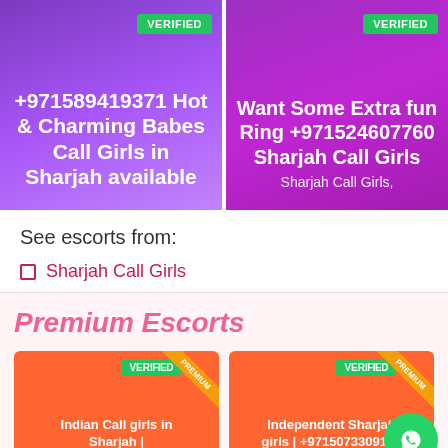[Figure (screenshot): Two escort listing cards side by side with purple/magenta gradient backgrounds. Left card has VERIFIED badge and text '+971589419371 Hot & Charming Babes Call Girls in Sharjah available'. Right card has VERIFIED badge and text 'Want Some Extra fun Ring +971524607760 Sharjah Call Girls' with subtitle 'Sharjah Call Girls,']
See escorts from:
Sharjah Call Girls
Premium Escorts
[Figure (screenshot): Two premium escort listing cards side by side with orange backgrounds. Left card has VERIFIED badge, PREMIUM ribbon, and text 'Indian Call girls in Sharjah |'. Right card has VERIFIED badge, PREMIUM ribbon, and text 'Independent Sharjah girls | +971507330913 |'. WhatsApp button visible bottom right.]